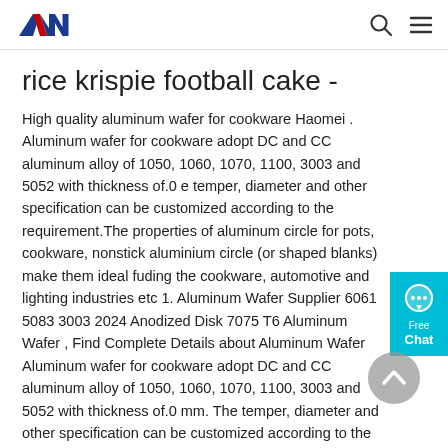ANN logo with search and menu icons
rice krispie football cake -
High quality aluminum wafer for cookware Haomei . Aluminum wafer for cookware adopt DC and CC aluminum alloy of 1050, 1060, 1070, 1100, 3003 and 5052 with thickness of.0 e temper, diameter and other specification can be customized according to the requirement.The properties of aluminum circle for pots, cookware, nonstick aluminium circle (or shaped blanks) make them ideal fuding the cookware, automotive and lighting industries etc 1. Aluminum Wafer Supplier 6061 5083 3003 2024 Anodized Disk 7075 T6 Aluminum Wafer , Find Complete Details about Aluminum Wafer Aluminum wafer for cookware adopt DC and CC aluminum alloy of 1050, 1060, 1070, 1100, 3003 and 5052 with thickness of.0 mm. The temper, diameter and other specification can be customized according to the requirement. With the wide application of aluminum wafer, this